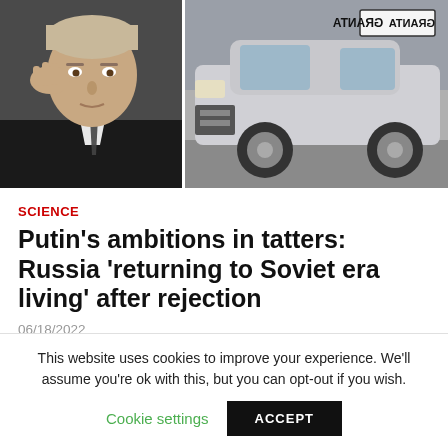[Figure (photo): Left portion: close-up photo of Vladimir Putin with hand raised to face, wearing dark suit and dotted tie. Right portion: photograph of a Lada Granta car from the front, with reversed 'GRANTA' plate visible.]
SCIENCE
Putin's ambitions in tatters: Russia 'returning to Soviet era living' after rejection
06/18/2022
Vladimir Putin speaks at the Economic Forum in St Petersburg
This website uses cookies to improve your experience. We'll assume you're ok with this, but you can opt-out if you wish.
Cookie settings
ACCEPT